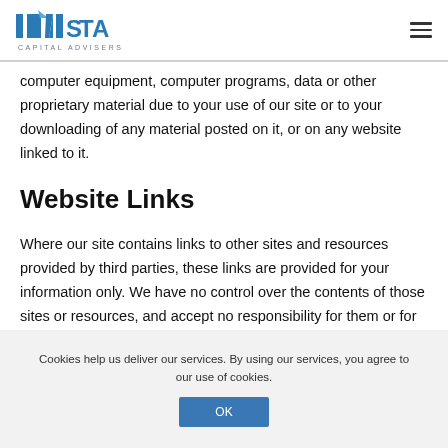INVISTA CAPITAL ADVISERS
computer equipment, computer programs, data or other proprietary material due to your use of our site or to your downloading of any material posted on it, or on any website linked to it.
Website Links
Where our site contains links to other sites and resources provided by third parties, these links are provided for your information only. We have no control over the contents of those sites or resources, and accept no responsibility for them or for any loss or damage that may arise from your
Cookies help us deliver our services. By using our services, you agree to our use of cookies.